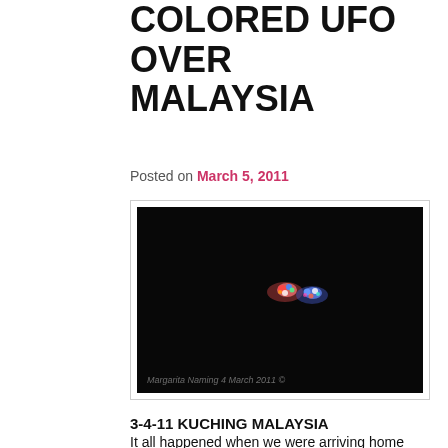COLORED UFO OVER MALAYSIA
Posted on March 5, 2011
[Figure (photo): Dark night sky photograph showing two colorful glowing UFO objects with multi-colored lights (red, blue, white, green). Watermark reads: Margarita Naming 4 March 2011 ©]
3-4-11 KUCHING MALAYSIA
It all happened when we were arriving home around 9.30pm and my youngest son, Manuel was crying. So